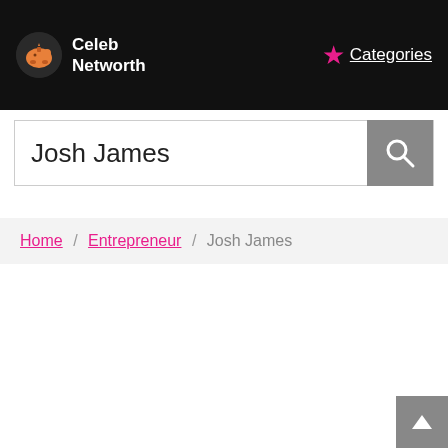Celeb Networth — Categories
Josh James
Home / Entrepreneur / Josh James